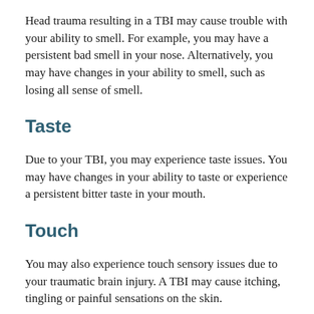Head trauma resulting in a TBI may cause trouble with your ability to smell. For example, you may have a persistent bad smell in your nose. Alternatively, you may have changes in your ability to smell, such as losing all sense of smell.
Taste
Due to your TBI, you may experience taste issues. You may have changes in your ability to taste or experience a persistent bitter taste in your mouth.
Touch
You may also experience touch sensory issues due to your traumatic brain injury. A TBI may cause itching, tingling or painful sensations on the skin.